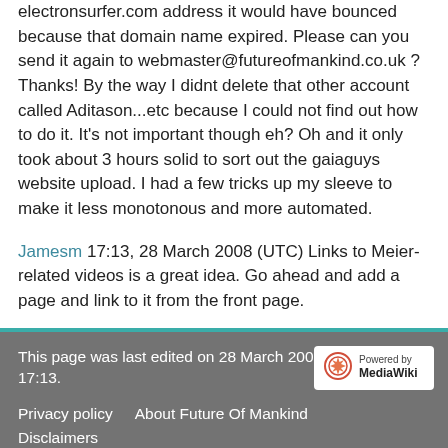electronsurfer.com address it would have bounced because that domain name expired. Please can you send it again to webmaster@futureofmankind.co.uk ? Thanks! By the way I didnt delete that other account called Aditason...etc because I could not find out how to do it. It's not important though eh? Oh and it only took about 3 hours solid to sort out the gaiaguys website upload. I had a few tricks up my sleeve to make it less monotonous and more automated.
Jamesm 17:13, 28 March 2008 (UTC) Links to Meier-related videos is a great idea. Go ahead and add a page and link to it from the front page.
This page was last edited on 28 March 2008, at 17:13.
Privacy policy   About Future Of Mankind   Disclaimers
☽ Dark mode